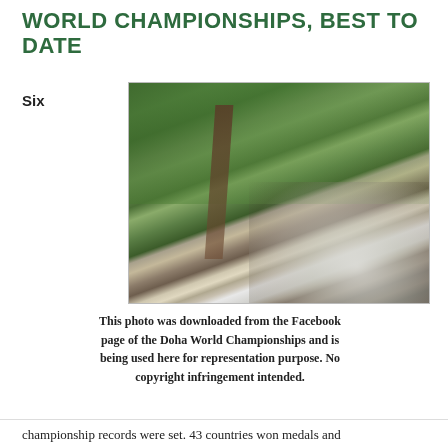WORLD CHAMPIONSHIPS, BEST TO DATE
Six
[Figure (photo): Aerial photograph of the Doha World Championships venue showing a large stadium, tower, and surrounding grounds with green fields.]
This photo was downloaded from the Facebook page of the Doha World Championships and is being used here for representation purpose. No copyright infringement intended.
championship records were set. 43 countries won medals and